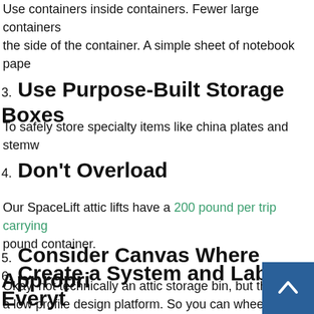Use containers inside containers. Fewer large containers the side of the container. A simple sheet of notebook pape
3. Use Purpose-Built Storage Boxes
To safely store specialty items like china plates and stemw
4. Don't Overload
Our SpaceLift attic lifts have a 200 pound per trip carrying pound container.
5. Consider Canvas Where Appropri
Okay, not technically an attic storage bin, but there are so a low profile design platform. So you can wheel a nine-foo
6. Create a System and Label Everyt